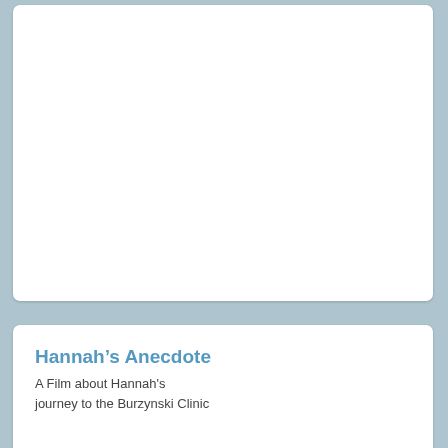[Figure (other): Top white card region, partially visible at top of page — content not visible]
Hannah’s Anecdote
A Film about Hannah's journey to the Burzynski Clinic
Kelsey Hill Interview
Lung & Liver Cancer Cured by